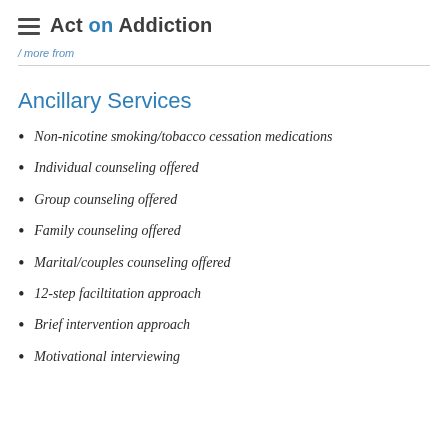Act on Addiction
/ more from
Ancillary Services
Non-nicotine smoking/tobacco cessation medications
Individual counseling offered
Group counseling offered
Family counseling offered
Marital/couples counseling offered
12-step faciltitation approach
Brief intervention approach
Motivational interviewing